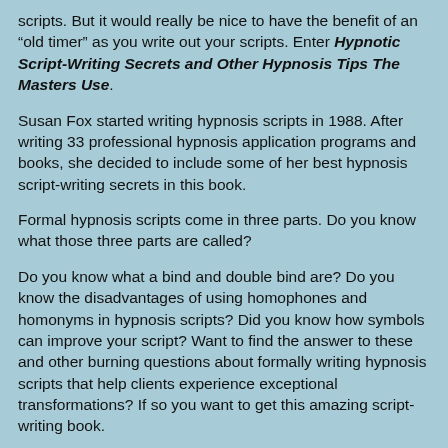scripts. But it would really be nice to have the benefit of an “old timer” as you write out your scripts. Enter Hypnotic Script-Writing Secrets and Other Hypnosis Tips The Masters Use.
Susan Fox started writing hypnosis scripts in 1988. After writing 33 professional hypnosis application programs and books, she decided to include some of her best hypnosis script-writing secrets in this book.
Formal hypnosis scripts come in three parts. Do you know what those three parts are called?
Do you know what a bind and double bind are? Do you know the disadvantages of using homophones and homonyms in hypnosis scripts? Did you know how symbols can improve your script? Want to find the answer to these and other burning questions about formally writing hypnosis scripts that help clients experience exceptional transformations? If so you want to get this amazing script-writing book.
This book, the same one sold by the National Guild of Hypnotists (NGH) helps you tremendously improve your hypnotic script-writing. Susan Fox, internationally known hypnotic script-writing expert shares her incredible secrets for effective script-writing in this book. If